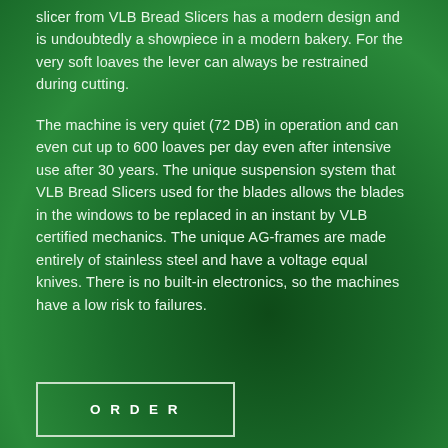slicer from VLB Bread Slicers has a modern design and is undoubtedly a showpiece in a modern bakery. For the very soft loaves the lever can always be restrained during cutting.
The machine is very quiet (72 DB) in operation and can even cut up to 600 loaves per day even after intensive use after 30 years. The unique suspension system that VLB Bread Slicers used for the blades allows the blades in the windows to be replaced in an instant by VLB certified mechanics. The unique AG-frames are made entirely of stainless steel and have a voltage equal knives. There is no built-in electronics, so the machines have a low risk to failures.
ORDER